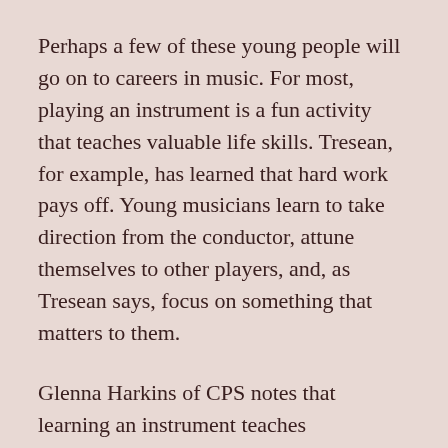Perhaps a few of these young people will go on to careers in music. For most, playing an instrument is a fun activity that teaches valuable life skills. Tresean, for example, has learned that hard work pays off. Young musicians learn to take direction from the conductor, attune themselves to other players, and, as Tresean says, focus on something that matters to them.
Glenna Harkins of CPS notes that learning an instrument teaches responsibility: “The kids have to take care of their instruments.
They have to get organized to practice at home and bring their instruments every Thursday so they can go to band practice.”